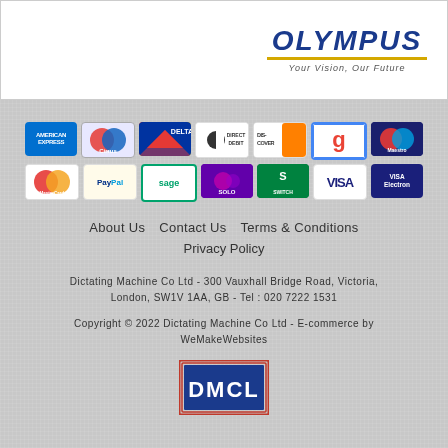[Figure (logo): Olympus logo with tagline 'Your Vision, Our Future' and gold underline]
[Figure (infographic): Payment method icons in two rows: American Express, Cirrus, Delta, Direct Debit, Discover, Google, Maestro, MasterCard, PayPal, Sage, Solo, Switch, Visa, Visa Electron]
About Us   Contact Us   Terms & Conditions
Privacy Policy
Dictating Machine Co Ltd - 300 Vauxhall Bridge Road, Victoria, London, SW1V 1AA, GB - Tel : 020 7222 1531
Copyright © 2022 Dictating Machine Co Ltd - E-commerce by WeMakeWebsites
[Figure (logo): DMCL logo in blue and red border squares]